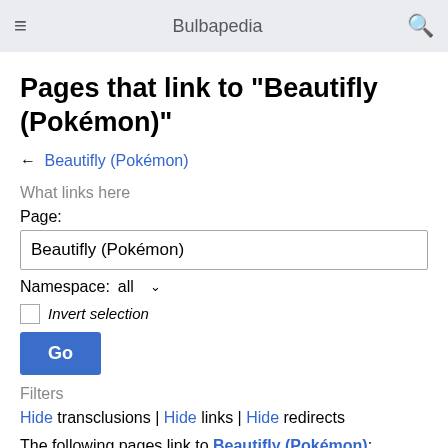Bulbapedia
Pages that link to "Beautifly (Pokémon)"
← Beautifly (Pokémon)
What links here
Page:
Beautifly (Pokémon)
Namespace:  all
Invert selection
Go
Filters
Hide transclusions | Hide links | Hide redirects
The following pages link to Beautifly (Pokémon):